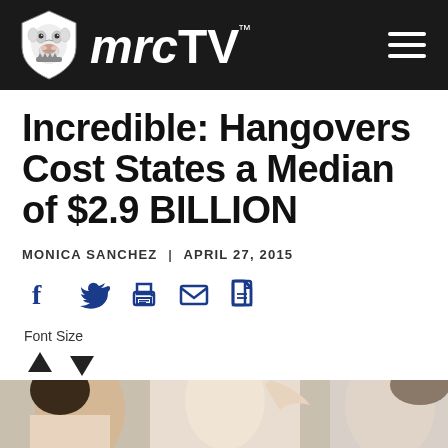mrcTV
Incredible: Hangovers Cost States a Median of $2.9 BILLION
MONICA SANCHEZ | APRIL 27, 2015
[Figure (infographic): Social sharing icons: Facebook, Twitter, Print, Email, PDF]
Font Size
[Figure (photo): Partial photo of people at the bottom of the page]